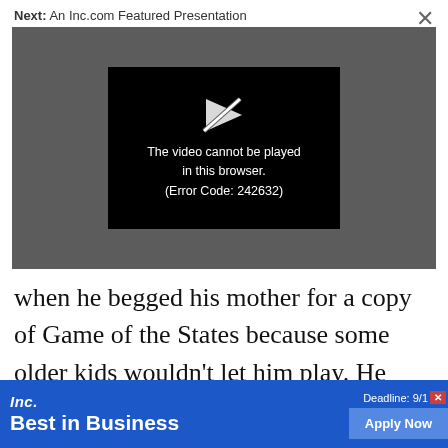Next: An Inc.com Featured Presentation
[Figure (screenshot): Video player error screen on a dark gray background. A black inner panel shows a broken/slashed play button icon in white, with text: 'The video cannot be played in this browser. (Error Code: 242632)']
when he begged his mother for a copy of Game of the States because some older kids wouldn't let him play. He graduated to strat
[Figure (other): Inc. Best in Business advertisement banner. Blue background with Inc. logo, 'Best in Business' text, 'Deadline: 9/1' and 'Apply Now' button.]